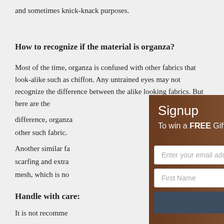and sometimes knick-knack purposes.
How to recognize if the material is organza?
Most of the time, organza is confused with other fabrics that look-alike such as chiffon. Any untrained eyes may not recognize the difference between the alike looking fabrics. But here are the difference, organza... other such fabric. Another similar fa... scarfing and extra... mesh, which is no...
[Figure (screenshot): A popup modal overlay showing a woman in a green and red saree against a brown background. The popup has a 'Signup' heading, 'To win a FREE Gift' subheading, an email address input field, First Name and Last Name fields, and a Subscribe button. There is a close (X) button in the top right corner.]
Handle with care:
It is not recomme... machine. Since it'...